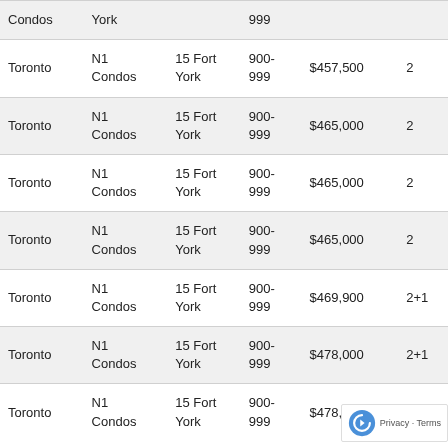| Condos | York | 999 |  |  |  |
| Toronto | N1 Condos | 15 Fort York | 900-999 | $457,500 | 2 |
| Toronto | N1 Condos | 15 Fort York | 900-999 | $465,000 | 2 |
| Toronto | N1 Condos | 15 Fort York | 900-999 | $465,000 | 2 |
| Toronto | N1 Condos | 15 Fort York | 900-999 | $465,000 | 2 |
| Toronto | N1 Condos | 15 Fort York | 900-999 | $469,900 | 2+1 |
| Toronto | N1 Condos | 15 Fort York | 900-999 | $478,000 | 2+1 |
| Toronto | N1 Condos | 15 Fort York | 900-999 | $478,800 |  |